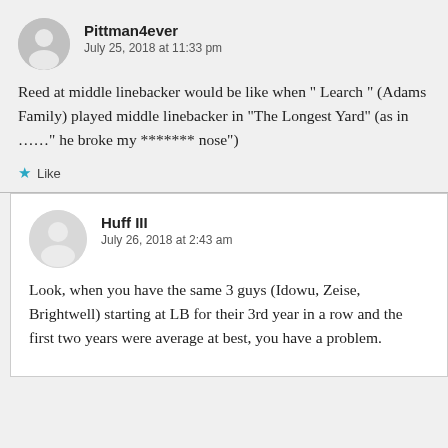Pittman4ever
July 25, 2018 at 11:33 pm
Reed at middle linebacker would be like when “ Learch “ (Adams Family) played middle linebacker in “The Longest Yard” (as in ……“ he broke my ******* nose”)
Like
Huff III
July 26, 2018 at 2:43 am
Look, when you have the same 3 guys (Idowu, Zeise, Brightwell) starting at LB for their 3rd year in a row and the first two years were average at best, you have a problem.